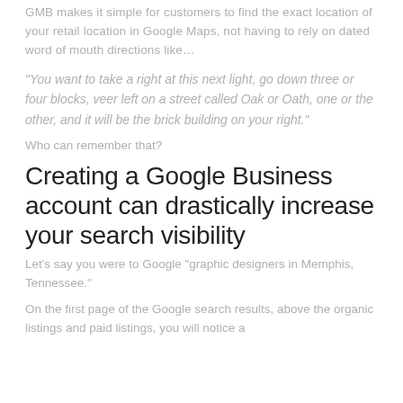GMB makes it simple for customers to find the exact location of your retail location in Google Maps, not having to rely on dated word of mouth directions like…
“You want to take a right at this next light, go down three or four blocks, veer left on a street called Oak or Oath, one or the other, and it will be the brick building on your right.”
Who can remember that?
Creating a Google Business account can drastically increase your search visibility
Let’s say you were to Google “graphic designers in Memphis, Tennessee.”
On the first page of the Google search results, above the organic listings and paid listings, you will notice a